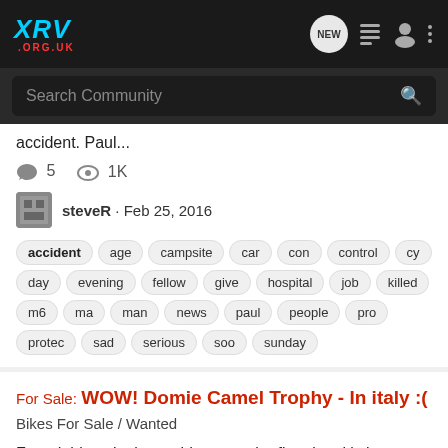XRV .ORG.UK — navigation bar with NEW, list, user, and menu icons
Search Community
accident. Paul...
5 comments · 1K views
steveR · Feb 25, 2016
accident age campsite car con control cy day evening fellow give hospital job killed m6 ma man news paul people pro protec sad serious soo sunday
For Sale: WOW! Domie Camel Trophy - In italy :(
Bikes For Sale / Wanted
Found this quite by accident, not the first time it's been on Ebay and not sure of this really is genuine, but WOW looks